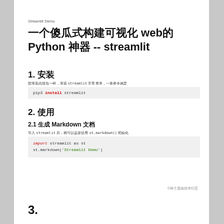Streamlit Demo
一个傻瓜式构建可视化 web的 Python 神器 -- streamlit
1. 安装
想安装此组包一样，安装 streamlit 非常简单，一条命令搞定
pip3 install streamlit
2. 使用
2.1 生成 Markdown 文档
导入 streamlit 后，就可以直接使用 st.markdown() 初始化
import streamlit as st
st.markdown('Streamlit Demo')
©神土屋由技术社区
3.